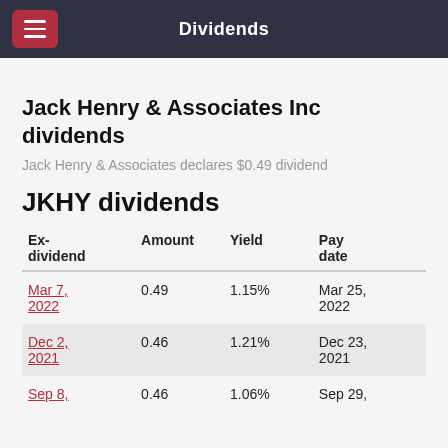Dividends
Jack Henry & Associates Inc dividends
Jack Henry & Associates declares $0.49 dividend
JKHY dividends
| Ex-dividend | Amount | Yield | Pay date |
| --- | --- | --- | --- |
| Mar 7, 2022 | 0.49 | 1.15% | Mar 25, 2022 |
| Dec 2, 2021 | 0.46 | 1.21% | Dec 23, 2021 |
| Sep 8, | 0.46 | 1.06% | Sep 29, |